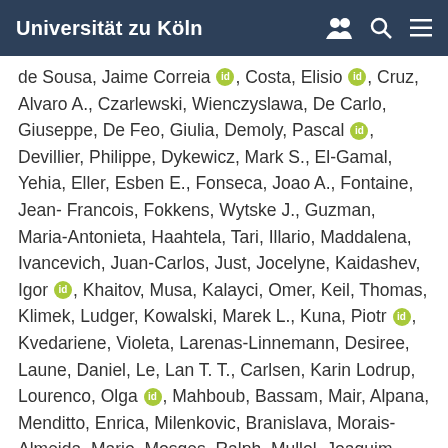Universität zu Köln
de Sousa, Jaime Correia [ORCID], Costa, Elisio [ORCID], Cruz, Alvaro A., Czarlewski, Wienczyslawa, De Carlo, Giuseppe, De Feo, Giulia, Demoly, Pascal [ORCID], Devillier, Philippe, Dykewicz, Mark S., El-Gamal, Yehia, Eller, Esben E., Fonseca, Joao A., Fontaine, Jean-Francois, Fokkens, Wytske J., Guzman, Maria-Antonieta, Haahtela, Tari, Illario, Maddalena, Ivancevich, Juan-Carlos, Just, Jocelyne, Kaidashev, Igor [ORCID], Khaitov, Musa, Kalayci, Omer, Keil, Thomas, Klimek, Ludger, Kowalski, Marek L., Kuna, Piotr [ORCID], Kvedariene, Violeta, Larenas-Linnemann, Desiree, Laune, Daniel, Le, Lan T. T., Carlsen, Karin Lodrup, Lourenco, Olga [ORCID], Mahboub, Bassam, Mair, Alpana, Menditto, Enrica, Milenkovic, Branislava, Morais-Almeida, Mario, Mosges, Ralph, Mullol, Joaquim, Murray, Ruth, Naclerio,